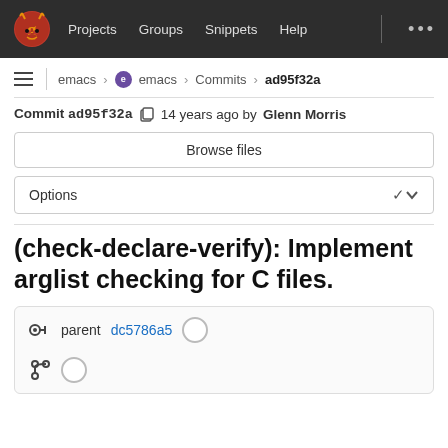Projects  Groups  Snippets  Help
emacs › emacs › Commits › ad95f32a
Commit ad95f32a  14 years ago by Glenn Morris
Browse files
Options
(check-declare-verify): Implement arglist checking for C files.
parent dc5786a5